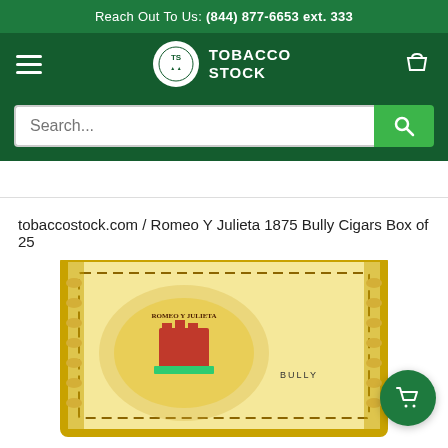Reach Out To Us: (844) 877-6653 ext. 333
[Figure (logo): Tobacco Stock logo with hamburger menu, circular TS emblem, TOBACCO STOCK text, and basket icon on dark green nav bar with search field below]
tobaccostock.com / Romeo Y Julieta 1875 Bully Cigars Box of 25
[Figure (photo): Partial view of Romeo Y Julieta 1875 Bully Cigars box lid showing ornate gold border and classic Romeo Y Julieta label with BULLY text visible]